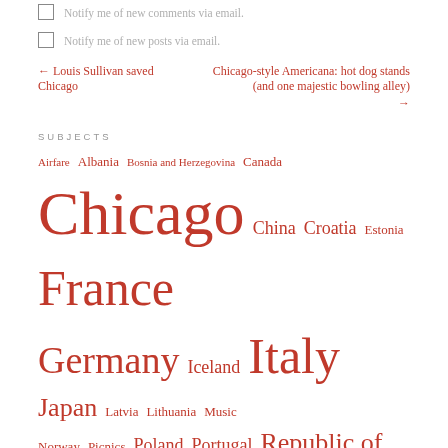Notify me of new comments via email.
Notify me of new posts via email.
← Louis Sullivan saved Chicago
Chicago-style Americana: hot dog stands (and one majestic bowling alley) →
SUBJECTS
Airfare  Albania  Bosnia and Herzegovina  Canada  Chicago  China  Croatia  Estonia  France  Germany  Iceland  Italy  Japan  Latvia  Lithuania  Music  Norway  Picnics  Poland  Portugal  Republic of Georgia  Romania  Spain  Street food  Taiwan  The Infamous Blue Traveling Poncho  Travel tips  Uncategorized  UNESCO World Heritage Sites  USA
THIS BLOG HAS BEEN FEATURED ON FRESHLY PRESSED!